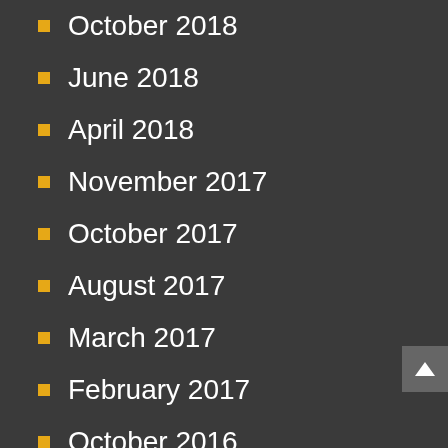October 2018
June 2018
April 2018
November 2017
October 2017
August 2017
March 2017
February 2017
October 2016
August 2016
June 2016
January 2016